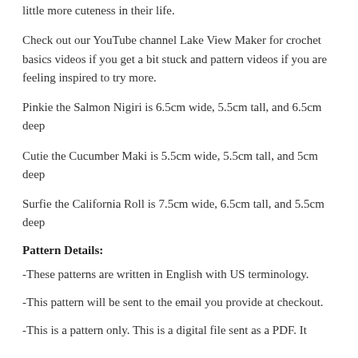little more cuteness in their life.
Check out our YouTube channel Lake View Maker for crochet basics videos if you get a bit stuck and pattern videos if you are feeling inspired to try more.
Pinkie the Salmon Nigiri is 6.5cm wide, 5.5cm tall, and 6.5cm deep
Cutie the Cucumber Maki is 5.5cm wide, 5.5cm tall, and 5cm deep
Surfie the California Roll is 7.5cm wide, 6.5cm tall, and 5.5cm deep
Pattern Details:
-These patterns are written in English with US terminology.
-This pattern will be sent to the email you provide at checkout.
-This is a pattern only. This is a digital file sent as a PDF. It